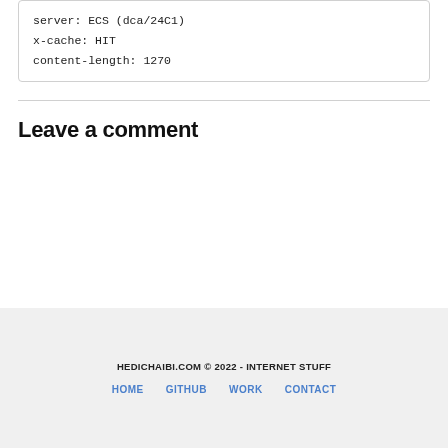server: ECS (dca/24C1)
x-cache: HIT
content-length: 1270
Leave a comment
HEDICHAIBI.COM © 2022 - INTERNET STUFF
HOME  GITHUB  WORK  CONTACT